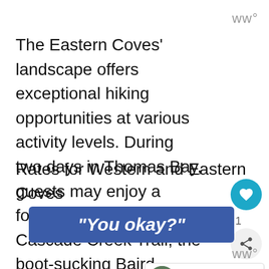ww°
The Eastern Coves' landscape offers exceptional hiking opportunities at various activity levels. During two days in Thomas Bay, guests may enjoy a forest trek along the Cascade Creek Trail, the boot-sucking Baird Glacier trek and the five-mile hike in to Patterson Lake for spectacular kayaking.  A half-day visit in W... includes a visit to Kiksetti Totem Park. Rates for Western and Eastern Coves
[Figure (screenshot): Blue banner overlay with bold italic text reading "You okay?"]
ww°